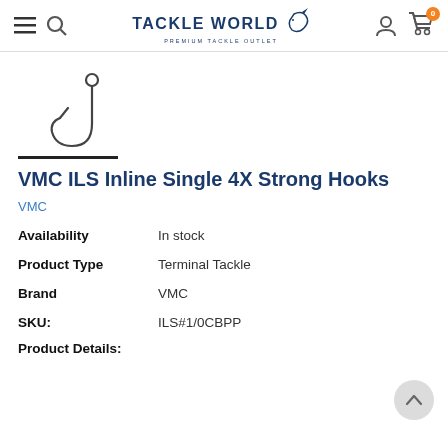Tackle World — Premium Tackle Outlet
[Figure (illustration): Fishing hook product image — a single black inline fishing hook shown on white background with a dark underline beneath it]
VMC ILS Inline Single 4X Strong Hooks
VMC
| Field | Value |
| --- | --- |
| Availability | In stock |
| Product Type | Terminal Tackle |
| Brand | VMC |
| SKU: | ILS#1/0CBPP |
| Product Details: |  |